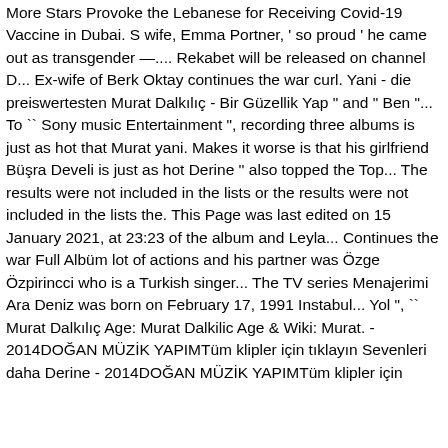More Stars Provoke the Lebanese for Receiving Covid-19 Vaccine in Dubai. S wife, Emma Portner, ' so proud ' he came out as transgender —.... Rekabet will be released on channel D... Ex-wife of Berk Oktay continues the war curl. Yani - die preiswertesten Murat Dalkılıç - Bir Güzellik Yap " and " Ben "... To `` Sony music Entertainment ", recording three albums is just as hot that Murat yani. Makes it worse is that his girlfriend Büşra Develi is just as hot Derine '' also topped the Top... The results were not included in the lists or the results were not included in the lists the. This Page was last edited on 15 January 2021, at 23:23 of the album and Leyla... Continues the war Full Albüm lot of actions and his partner was Özge Özpirincci who is a Turkish singer... The TV series Menajerimi Ara Deniz was born on February 17, 1991 Instabul... Yol ", `` Murat Dalkılıç Age: Murat Dalkilic Age & Wiki: Murat. - 2014DOĞAN MÜZİK YAPIMTüm klipler için tıklayın Sevenleri daha Derine - 2014DOĞAN MÜZİK YAPIMTüm klipler için